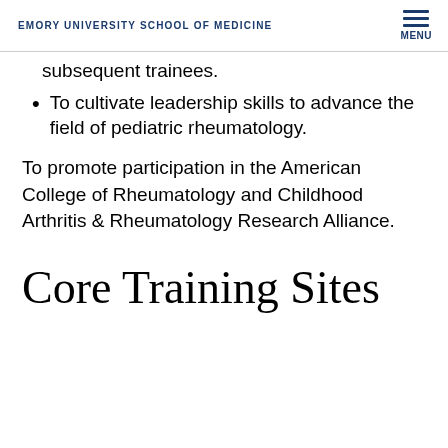EMORY UNIVERSITY SCHOOL OF MEDICINE
subsequent trainees.
To cultivate leadership skills to advance the field of pediatric rheumatology.
To promote participation in the American College of Rheumatology and Childhood Arthritis & Rheumatology Research Alliance.
Core Training Sites